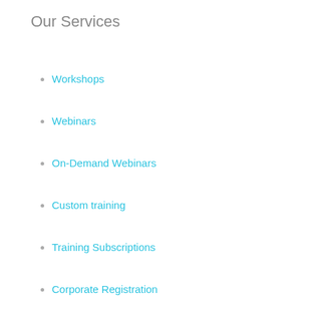Our Services
Workshops
Webinars
On-Demand Webinars
Custom training
Training Subscriptions
Corporate Registration
Certification Program
Smart Recruitment
Corporate Registration - Online Workshop
Company
About Us